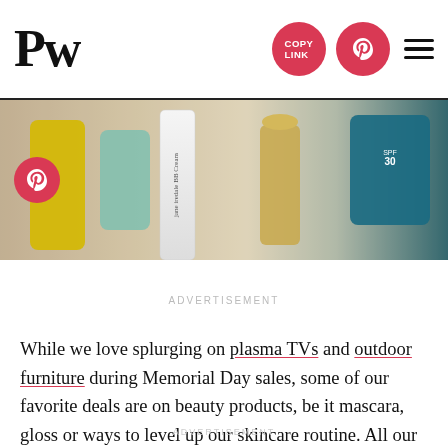PW
[Figure (photo): Beauty and skincare products laid out on a surface, including a jane iredale BB cream tube, a teal jar, and other colorful bottles]
ADVERTISEMENT
While we love splurging on plasma TVs and outdoor furniture during Memorial Day sales, some of our favorite deals are on beauty products, be it mascara, gloss or ways to level up our skincare routine. All our beloved retailers from Violet Grey to Dermstore to SolaWave are holding major discounts. And the best part is, you don't have to wait until this weekend